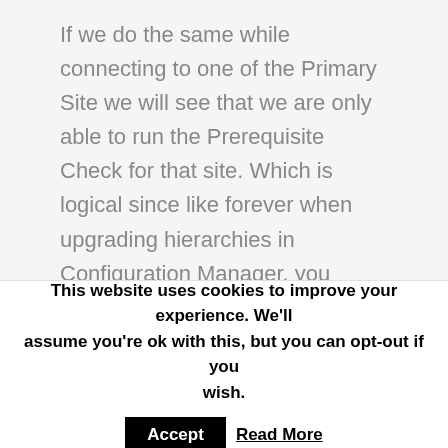If we do the same while connecting to one of the Primary Site we will see that we are only able to run the Prerequisite Check for that site. Which is logical since like forever when upgrading hierarchies in Configuration Manager, you always need to upgrade the site at the top of the infrastructure first and then upgrade the sites below. In this case the upgrade will be done automatically. 🙂
[Figure (screenshot): Screenshot strip showing System Center Configuration Manager connected to PS2 - Primary Site 2]
This website uses cookies to improve your experience. We'll assume you're ok with this, but you can opt-out if you wish. Accept Read More